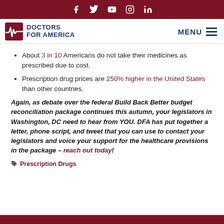Social media icons: Facebook, Twitter, YouTube, Instagram, LinkedIn
Doctors for America | MENU
About 3 in 10 Americans do not take their medicines as prescribed due to cost.
Prescription drug prices are 250% higher in the United States than other countries.
Again, as debate over the federal Build Back Better budget reconciliation package continues this autumn, your legislators in Washington, DC need to hear from YOU. DFA has put together a letter, phone script, and tweet that you can use to contact your legislators and voice your support for the healthcare provisions in the package – reach out today!
Prescription Drugs